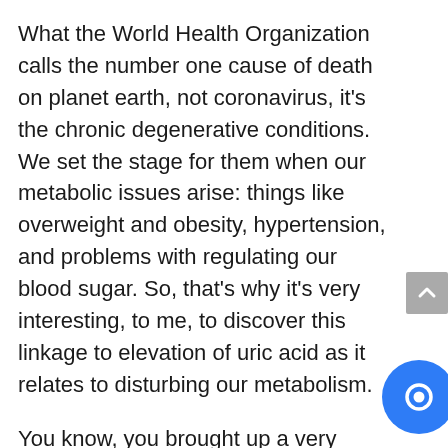What the World Health Organization calls the number one cause of death on planet earth, not coronavirus, it's the chronic degenerative conditions. We set the stage for them when our metabolic issues arise: things like overweight and obesity, hypertension, and problems with regulating our blood sugar. So, that's why it's very interesting, to me, to discover this linkage to elevation of uric acid as it relates to disturbing our metabolism.
You know, you brought up a very interesting point in the introduction, and that is most people heard of this. Yes, we've heard of uric acid in the context of kidney stones and gout, but when we start talking about elevated uric